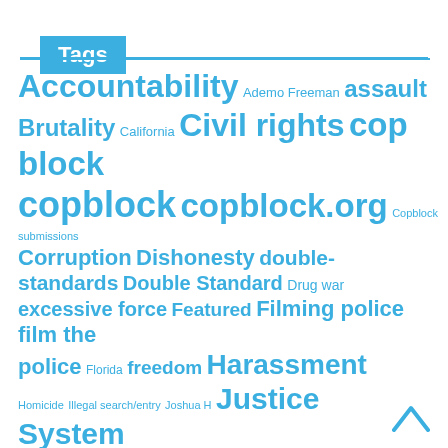Tags
Accountability Ademo Freeman assault Brutality California Civil rights cop block copblock copblock.org Copblock submissions Corruption Dishonesty double-standards Double Standard Drug war excessive force Featured Filming police film the police Florida freedom Harassment Homicide Illegal search/entry Joshua H Justice System kelly patterson New Hampshire New York no victim no crime Ohio Pete Eyre Photography police police